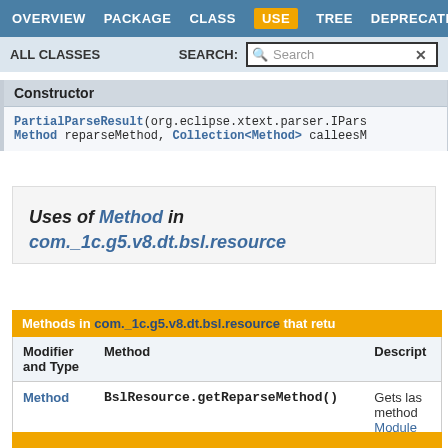OVERVIEW  PACKAGE  CLASS  USE  TREE  DEPRECATED
ALL CLASSES   SEARCH:
Constructor
PartialParseResult(org.eclipse.xtext.parser.IPars Method reparseMethod, Collection<Method> calleesM
Uses of Method in com._1c.g5.v8.dt.bsl.resource
| Modifier and Type | Method | Description |
| --- | --- | --- |
| Method | BslResource.getReparseMethod() | Gets las method Module |
Methods in com._1c.g5.v8.dt.bsl.resource that retu